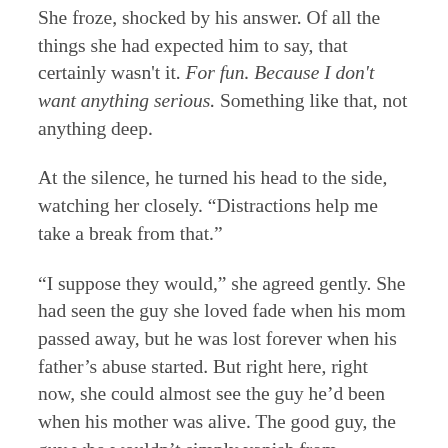She froze, shocked by his answer. Of all the things she had expected him to say, that certainly wasn't it. For fun. Because I don't want anything serious. Something like that, not anything deep.
At the silence, he turned his head to the side, watching her closely. "Distractions help me take a break from that."
"I suppose they would," she agreed gently. She had seen the guy she loved fade when his mom passed away, but he was lost forever when his father's abuse started. But right here, right now, she could almost see the guy he'd been when his mother was alive. The good guy, the guy who wouldn't simply vanish from someone's life so cruelly. "What about this bar fight that got you suspended?"